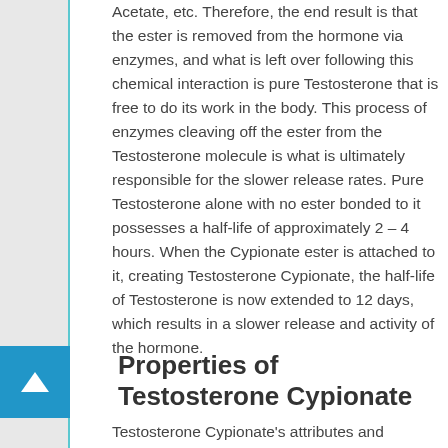Acetate, etc. Therefore, the end result is that the ester is removed from the hormone via enzymes, and what is left over following this chemical interaction is pure Testosterone that is free to do its work in the body. This process of enzymes cleaving off the ester from the Testosterone molecule is what is ultimately responsible for the slower release rates. Pure Testosterone alone with no ester bonded to it possesses a half-life of approximately 2 – 4 hours. When the Cypionate ester is attached to it, creating Testosterone Cypionate, the half-life of Testosterone is now extended to 12 days, which results in a slower release and activity of the hormone.
Properties of Testosterone Cypionate
Testosterone Cypionate's attributes and expressive properties follow, as to an listed breakdown and...